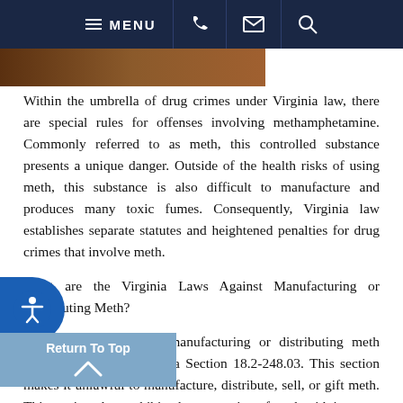MENU [phone] [email] [search]
Within the umbrella of drug crimes under Virginia law, there are special rules for offenses involving methamphetamine. Commonly referred to as meth, this controlled substance presents a unique danger. Outside of the health risks of using meth, this substance is also difficult to manufacture and produces many toxic fumes. Consequently, Virginia law establishes separate statutes and heightened penalties for drug crimes that involve meth.
What are the Virginia Laws Against Manufacturing or Distributing Meth?
The state laws against manufacturing or distributing meth appear at Code of Virginia Section 18.2-248.03. This section makes it unlawful to manufacture, distribute, sell, or gift meth. This section also prohibits the possession of meth with intent to manufacture, distribute, sell, or gift.
The punishment for a violation of Section 248.03 changes based on the quantity of meth at issue. For example, any